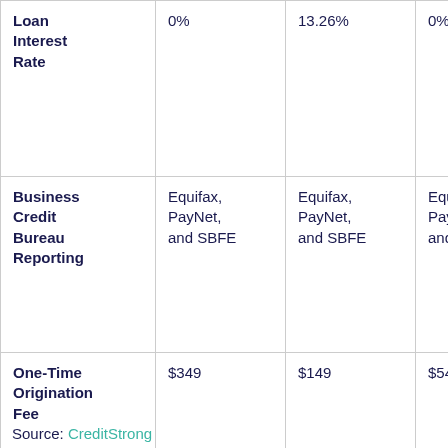| Loan Interest Rate | 0% | 13.26% | 0% |
| Business Credit Bureau Reporting | Equifax, PayNet, and SBFE | Equifax, PayNet, and SBFE | Equifax, PayNet, and SBFE |
| One-Time Origination Fee | $349 | $149 | $549 |
Source: CreditStrong